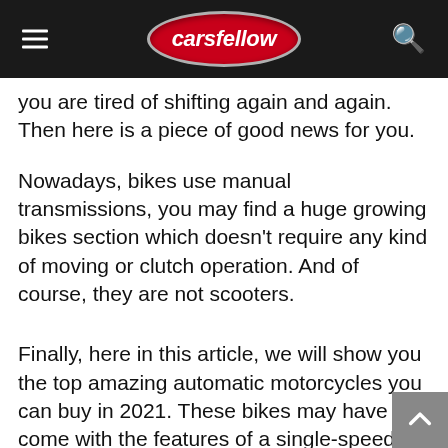carsfellow
you are tired of shifting again and again. Then here is a piece of good news for you.
Nowadays, bikes use manual transmissions, you may find a huge growing bikes section which doesn't require any kind of moving or clutch operation. And of course, they are not scooters.
Finally, here in this article, we will show you the top amazing automatic motorcycles you can buy in 2021. These bikes may have come with the features of a single-speed or gear set controlled by the electrical current streaming via the electrical motor (rather than power acting on various gears). However, you can find out the electric bikes right down here to further buy one for yourself.